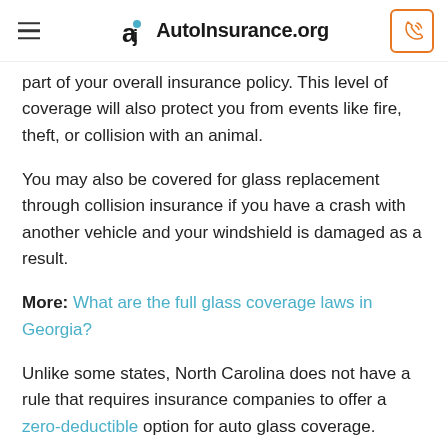AutoInsurance.org
part of your overall insurance policy. This level of coverage will also protect you from events like fire, theft, or collision with an animal.
You may also be covered for glass replacement through collision insurance if you have a crash with another vehicle and your windshield is damaged as a result.
More: What are the full glass coverage laws in Georgia?
Unlike some states, North Carolina does not have a rule that requires insurance companies to offer a zero-deductible option for auto glass coverage.